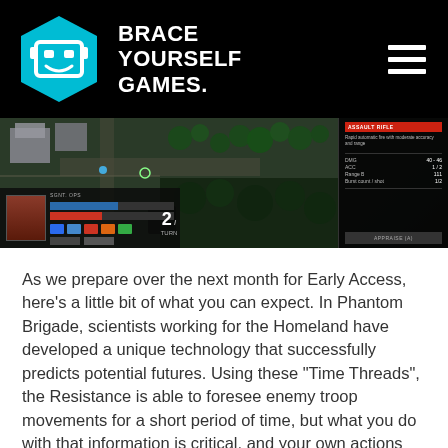[Figure (logo): Brace Yourself Games logo: cyan hexagon with robot face icon on black header background, with hamburger menu icon on the right]
[Figure (screenshot): Gameplay screenshot from Phantom Brigade: top-down tactical view of a city map with soldiers, buildings, trees, UI elements showing character stats, action bars, turn counter showing '2', and a right panel showing 'ASSAULT RIFLE' weapon stats]
As we prepare over the next month for Early Access, here’s a little bit of what you can expect. In Phantom Brigade, scientists working for the Homeland have developed a unique technology that successfully predicts potential futures. Using these “Time Threads”, the Resistance is able to foresee enemy troop movements for a short period of time, but what you do with that information is critical, and your own actions may change the set course.